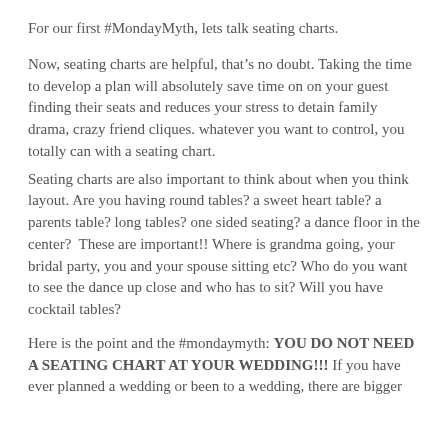For our first #MondayMyth, lets talk seating charts.
Now, seating charts are helpful, that’s no doubt. Taking the time to develop a plan will absolutely save time on on your guest finding their seats and reduces your stress to detain family drama, crazy friend cliques. whatever you want to control, you totally can with a seating chart.
Seating charts are also important to think about when you think layout. Are you having round tables? a sweet heart table? a parents table? long tables? one sided seating? a dance floor in the center?  These are important!! Where is grandma going, your bridal party, you and your spouse sitting etc? Who do you want to see the dance up close and who has to sit? Will you have cocktail tables?
Here is the point and the #mondaymyth: YOU DO NOT NEED A SEATING CHART AT YOUR WEDDING!!! If you have ever planned a wedding or been to a wedding, there are bigger...